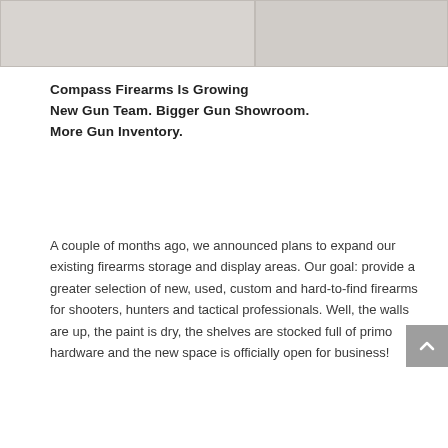[Figure (photo): Two side-by-side photos showing firearms showroom/store interior areas, appearing as light gray placeholder images]
Compass Firearms Is Growing New Gun Team. Bigger Gun Showroom. More Gun Inventory.
A couple of months ago, we announced plans to expand our existing firearms storage and display areas. Our goal: provide a greater selection of new, used, custom and hard-to-find firearms for shooters, hunters and tactical professionals. Well, the walls are up, the paint is dry, the shelves are stocked full of primo hardware and the new space is officially open for business!